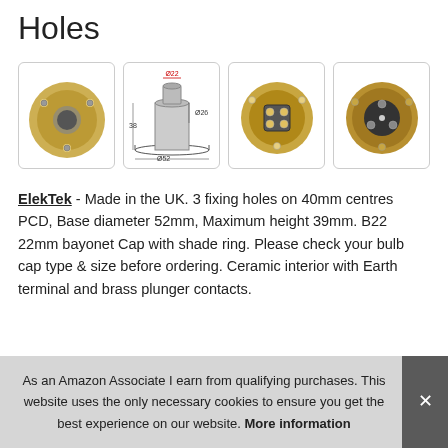Holes
[Figure (photo): Four product images of ElekTek brass lamp holder with bayonet cap: front view, technical diagram with dimensions (Ø22, Ø26, Ø52, height 38mm), back view showing contacts, and another angle view.]
ElekTek - Made in the UK. 3 fixing holes on 40mm centres PCD, Base diameter 52mm, Maximum height 39mm. B22 22mm bayonet Cap with shade ring. Please check your bulb cap type & size before ordering. Ceramic interior with Earth terminal and brass plunger contacts.
As an Amazon Associate I earn from qualifying purchases. This website uses the only necessary cookies to ensure you get the best experience on our website. More information